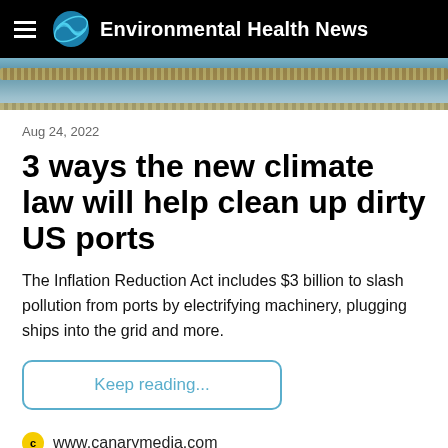Environmental Health News
[Figure (photo): Close-up photo of rope or cable on a ship/port, brownish and blue tones]
Aug 24, 2022
3 ways the new climate law will help clean up dirty US ports
The Inflation Reduction Act includes $3 billion to slash pollution from ports by electrifying machinery, plugging ships into the grid and more.
Keep reading...
www.canarymedia.com